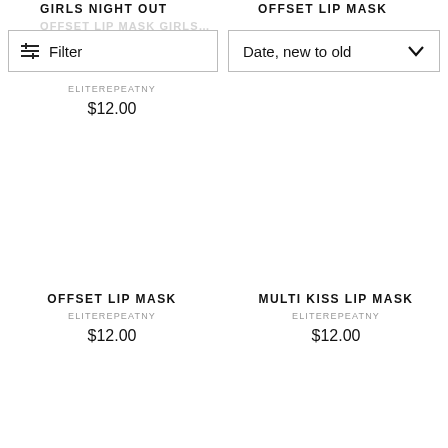GIRLS NIGHT OUT
OFFSET LIP MASK
Filter
Date, new to old
ELITEREPEATNY
$12.00
OFFSET LIP MASK
ELITEREPEATNY
$12.00
MULTI KISS LIP MASK
ELITEREPEATNY
$12.00